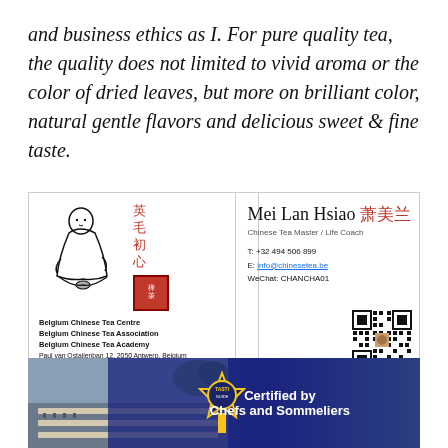and business ethics as I. For pure quality tea, the quality does not limited to vivid aroma or the color of dried leaves, but more on brilliant color, natural gentle flavors and delicious sweet & fine taste.
[Figure (illustration): Business card for Mei Lan Hsiao — Belgium Chinese Tea Centre. Left side: ink drawing of meditating monk figure with Chinese red calligraphy characters and red stamp seal. Right side: name Mei Lan Hsiao with Chinese characters, title Chinese Tea Master / Life Coach, phone, email, WeChat, QR code. URLs: www.Teasommelier.be and www.Chinesetea.be]
[Figure (photo): Banner image showing a banquet hall with long tables set for dinner, overlaid with navy blue panel and text 'Certified by Chefs and Sommeliers' with a circular badge/medal logo.]